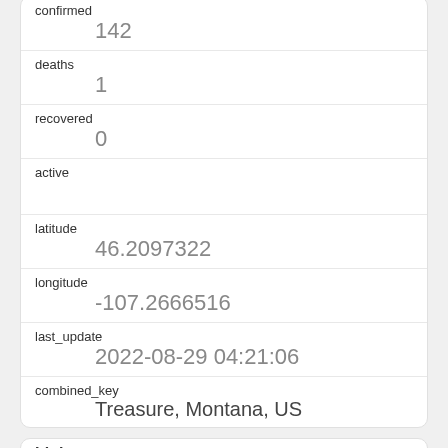confirmed
142
deaths
1
recovered
0
active
latitude
46.2097322
longitude
-107.2666516
last_update
2022-08-29 04:21:06
combined_key
Treasure, Montana, US
Link
2930964
rowid
2930964